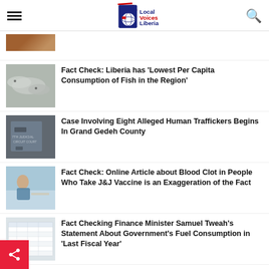Local Voices Liberia
Fact Check: Liberia has 'Lowest Per Capita Consumption of Fish in the Region'
Case Involving Eight Alleged Human Traffickers Begins In Grand Gedeh County
Fact Check: Online Article about Blood Clot in People Who Take J&J Vaccine is an Exaggeration of the Fact
Fact Checking Finance Minister Samuel Tweah's Statement About Government's Fuel Consumption in 'Last Fiscal Year'